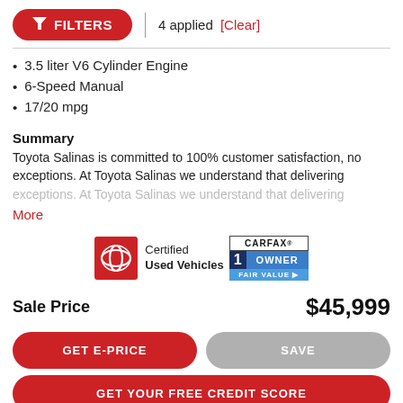FILTERS | 4 applied [Clear]
3.5 liter V6 Cylinder Engine
6-Speed Manual
17/20 mpg
Summary
Toyota Salinas is committed to 100% customer satisfaction, no exceptions. At Toyota Salinas we understand that delivering
More
[Figure (logo): Toyota Certified Used Vehicles logo with red Toyota emblem, and CARFAX 1 Owner Fair Value badge]
Sale Price  $45,999
GET E-PRICE
SAVE
GET YOUR FREE CREDIT SCORE